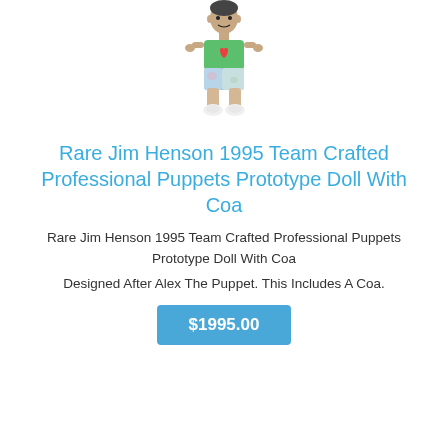[Figure (photo): A puppet/doll figure resembling Alex The Puppet, wearing a green top with a heart, colorful shorts, and white shoes, shown from the front against a white background.]
Rare Jim Henson 1995 Team Crafted Professional Puppets Prototype Doll With Coa
Rare Jim Henson 1995 Team Crafted Professional Puppets Prototype Doll With Coa
Designed After Alex The Puppet. This Includes A Coa.
$1995.00